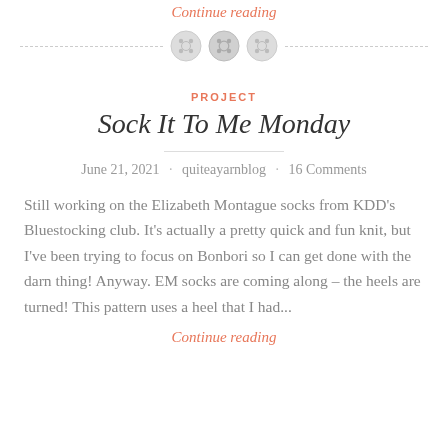Continue reading
[Figure (illustration): Three decorative button icons on a dashed horizontal divider line]
PROJECT
Sock It To Me Monday
June 21, 2021 · quiteayarnblog · 16 Comments
Still working on the Elizabeth Montague socks from KDD's Bluestocking club. It's actually a pretty quick and fun knit, but I've been trying to focus on Bonbori so I can get done with the darn thing! Anyway. EM socks are coming along – the heels are turned! This pattern uses a heel that I had...
Continue reading